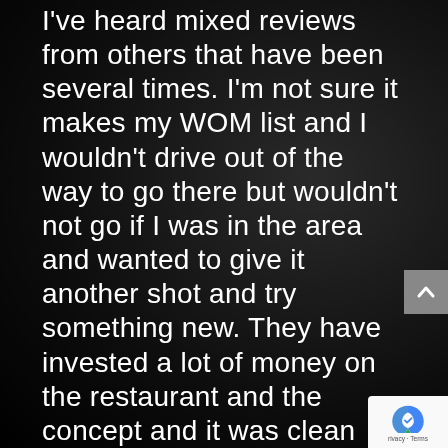I've heard mixed reviews from others that have been several times. I'm not sure it makes my WOM list and I wouldn't drive out of the way to go there but wouldn't not go if I was in the area and wanted to give it another shot and try something new. They have invested a lot of money on the restaurant and the concept and it was clean and well staffed but believe they still have a lot of work to get their volumes up to meet the chains goals. I give it a so so rating, didn't love it and didn't hate it and could easily see varying opinions on both sides.